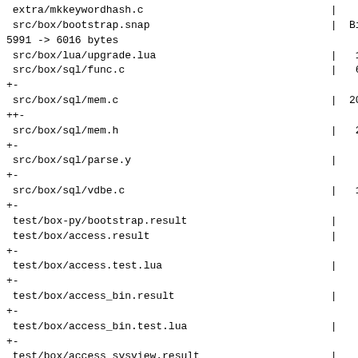extra/mkkeywordhash.c                              |    1 +
 src/box/bootstrap.snap                             |  Bin
5991 -> 6016 bytes
 src/box/lua/upgrade.lua                            |   19 +
 src/box/sql/func.c                                 |   69
+-
 src/box/sql/mem.c                                  |  203
++-
 src/box/sql/mem.h                                  |   29
+-
 src/box/sql/parse.y                                |    3
+-
 src/box/sql/vdbe.c                                 |   15
+-
 test/box-py/bootstrap.result                       |    1 +
 test/box/access.result                             |    2
+-
 test/box/access.test.lua                           |    2
+-
 test/box/access_bin.result                         |    2
+-
 test/box/access_bin.test.lua                       |    2
+-
 test/box/access_sysview.result                     |    8
+-
 test/box/function1.result                          |    6
+-
 test/sql-tap/CMakeLists.txt                        |    1 +
 .../gh-5913-segfault-on-select-uuid.test.lua       |   42
+-